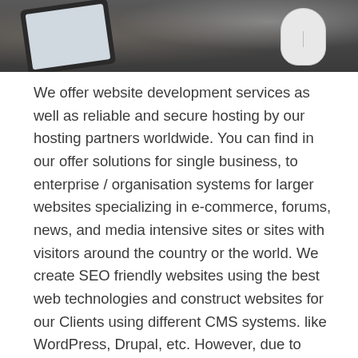[Figure (photo): A dark wooden desk surface with a tablet device at an angle on the left and a white computer mouse on the right, viewed from above.]
We offer website development services as well as reliable and secure hosting by our hosting partners worldwide. You can find in our offer solutions for single business, to enterprise / organisation systems for larger websites specializing in e-commerce, forums, news, and media intensive sites or sites with visitors around the country or the world. We create SEO friendly websites using the best web technologies and construct websites for our Clients using different CMS systems. like WordPress, Drupal, etc. However, due to system's technical possibilities, we prefer Joomla CMS system and offer you the following Joomla templates for your website:
See available templates »»»